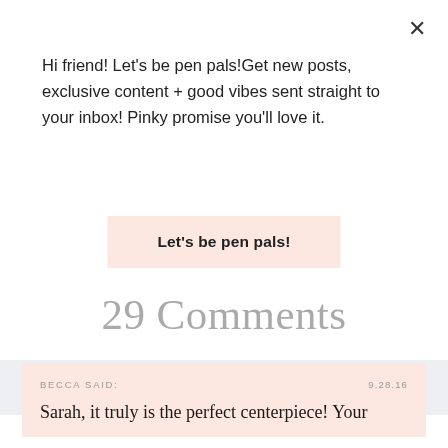Hi friend! Let’s be pen pals!Get new posts, exclusive content + good vibes sent straight to your inbox! Pinky promise you’ll love it.
Let’s be pen pals!
29 Comments
BECCA SAID:
9.28.16
Sarah, it truly is the perfect centerpiece! Your